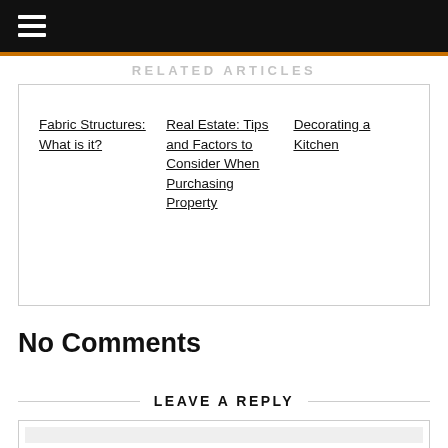☰ (hamburger menu)
RELATED ARTICLES
Fabric Structures: What is it?
Real Estate: Tips and Factors to Consider When Purchasing Property
Decorating a Kitchen
No Comments
LEAVE A REPLY